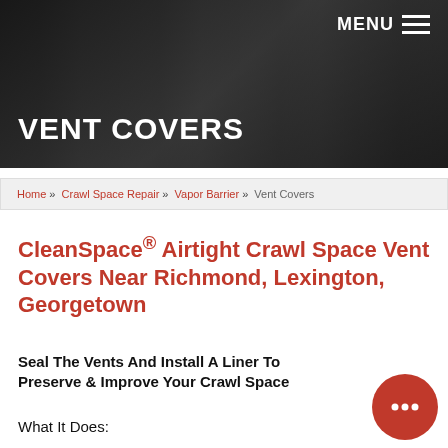MENU ≡
VENT COVERS
Home » Crawl Space Repair » Vapor Barrier » Vent Covers
CleanSpace® Airtight Crawl Space Vent Covers Near Richmond, Lexington, Georgetown
Seal The Vents And Install A Liner To Preserve & Improve Your Crawl Space
What It Does: